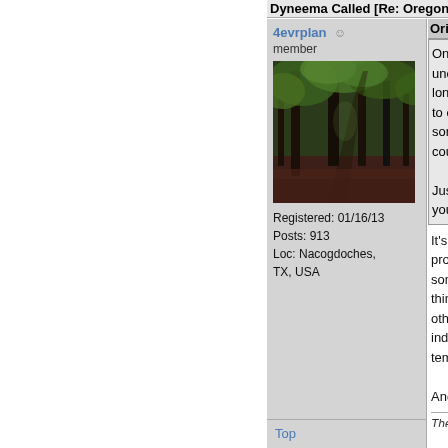Dyneema Called [Re: OregonMouse]
4evrplan
member
[Figure (photo): A forest path with dark tree trunks and green foliage overhead, dark reddish-brown leaf-covered ground]
Registered: 01/16/13
Posts: 913
Loc: Nacogdoches, TX, USA
Originally Po...
One questio... uncomfortab... long pants), to chew on? something t... could he con...
Just throwin... you consulte...
It's definitely chewing problem. Even when something to chew o... thing to put in his mo... other chewables, but indoors, keeping our temperature in winte...
And yes, we've been...
The journey is more i...
Top